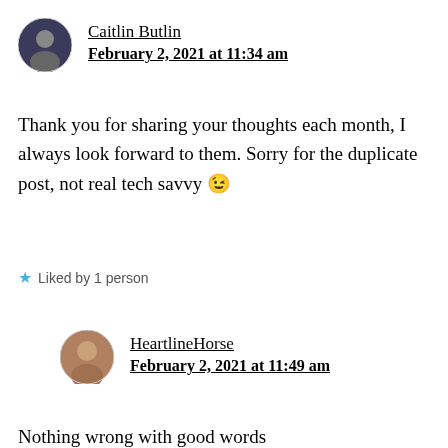[Figure (photo): Round avatar photo of Caitlin Butlin showing a group of people]
Caitlin Butlin
February 2, 2021 at 11:34 am
Thank you for sharing your thoughts each month, I always look forward to them. Sorry for the duplicate post, not real tech savvy 😉
⭐ Liked by 1 person
[Figure (photo): Round avatar photo of HeartlineHorse showing a woman]
HeartlineHorse
February 2, 2021 at 11:49 am
Nothing wrong with good words